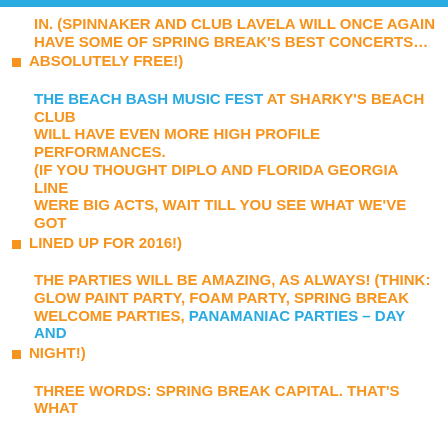IN. (SPINNAKER AND CLUB LAVELA WILL ONCE AGAIN HAVE SOME OF SPRING BREAK'S BEST CONCERTS... ABSOLUTELY FREE!)
THE BEACH BASH MUSIC FEST AT SHARKY'S BEACH CLUB WILL HAVE EVEN MORE HIGH PROFILE PERFORMANCES. (IF YOU THOUGHT DIPLO AND FLORIDA GEORGIA LINE WERE BIG ACTS, WAIT TILL YOU SEE WHAT WE'VE GOT LINED UP FOR 2016!)
THE PARTIES WILL BE AMAZING, AS ALWAYS! (THINK: GLOW PAINT PARTY, FOAM PARTY, SPRING BREAK WELCOME PARTIES, PANAMANIAC PARTIES – DAY AND NIGHT!)
THREE WORDS: SPRING BREAK CAPITAL. THAT'S WHAT